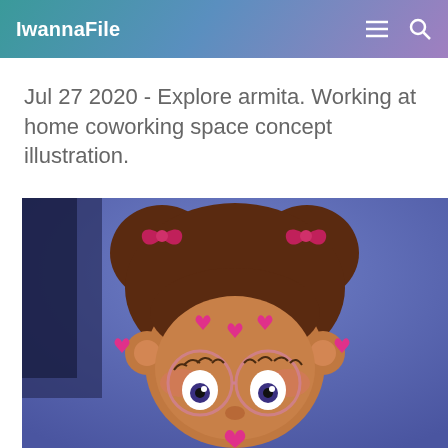IwannaFile
Jul 27 2020 - Explore armita. Working at home coworking space concept illustration.
[Figure (illustration): Cartoon illustration of a cute bear-like character with brown hair in two buns decorated with pink heart bows, pink heart decorations on face and chest, and round pink glasses, set against a blue/purple background.]